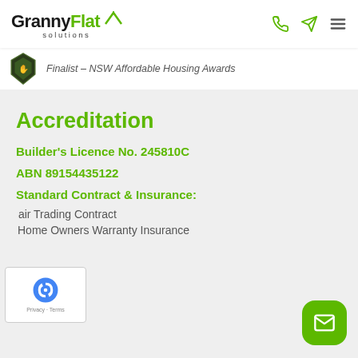GrannyFlat solutions
[Figure (logo): GrannyFlat Solutions logo with house roof icon]
Finalist – NSW Affordable Housing Awards
Accreditation
Builder's Licence No. 245810C
ABN 89154435122
Standard Contract & Insurance:
Fair Trading Contract
Home Owners Warranty Insurance